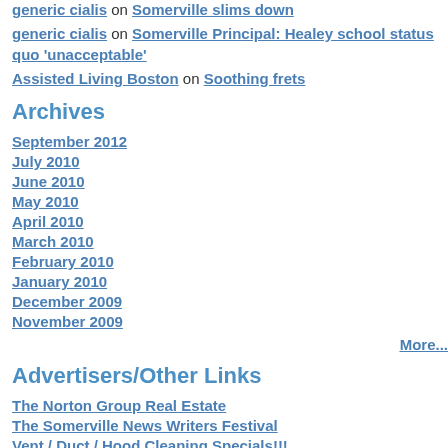generic cialis on Somerville slims down
generic cialis on Somerville Principal: Healey school status quo 'unacceptable'
Assisted Living Boston on Soothing frets
Archives
September 2012
July 2010
June 2010
May 2010
April 2010
March 2010
February 2010
January 2010
December 2009
November 2009
More...
Advertisers/Other Links
The Norton Group Real Estate
The Somerville News Writers Festival
Vent / Duct / Hood Cleaning Specials!!!
blame. "We're not condoning fighting with the night. These are good kids. [They] woul... Susan Mortimer, whose children atte... outside the Cambridge District Court duri... read “Drop the Racist Charges Against th... the “oppressive” Somerville school syste... who suspended the five teens despite a p... their reinstatement. “This isn’t the first time the police have... Mortimer said. “[Principal] Galligani and t... the students.” Edward Childs of the International Act... have attended and protested at each cou... Mortimer said Mayor Joseph A. Curtat... the Somerville 5, despite having posed fo... prior to the incident. Mark W. Shey, one of the defense atto... the teens and their families to refrain from... The police officers involved in the inci... “It’s an active, ongoing investigation – I ca... MacGilvray said.
Posted at 12:46 PM | Permalink
Comments
Geez could you at least get th...